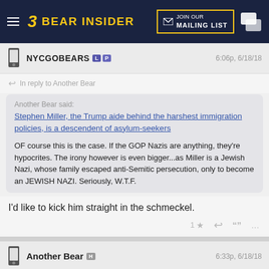BEAR INSIDER — JOIN OUR MAILING LIST
NYCGOBEARS  6:06p, 6/18/18
In reply to Another Bear
Another Bear said: Stephen Miller, the Trump aide behind the harshest immigration policies, is a descendent of asylum-seekers

OF course this is the case. If the GOP Nazis are anything, they're hypocrites. The irony however is even bigger...as Miller is a Jewish Nazi, whose family escaped anti-Semitic persecution, only to become an JEWISH NAZI. Seriously, W.T.F.
I'd like to kick him straight in the schmeckel.
Another Bear  6:33p, 6/18/18
In reply to NYCGOBEARS
I'd pay for the chance to punch that guy in the face.